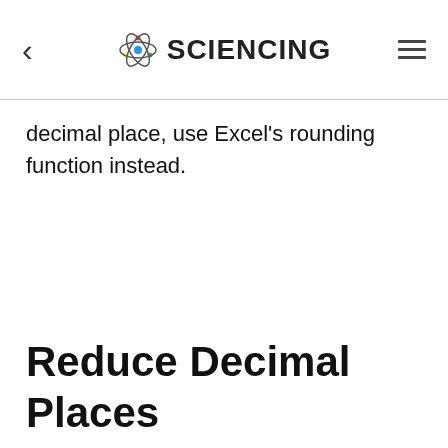< SCIENCING ≡
decimal place, use Excel's rounding function instead.
Reduce Decimal Places